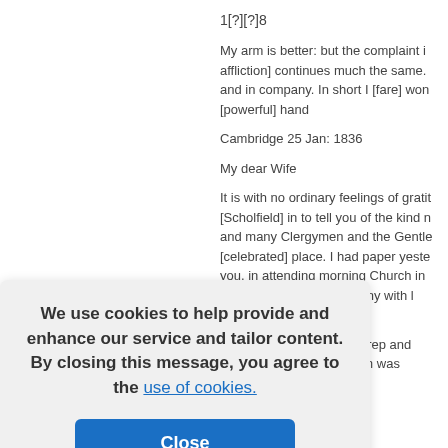1[?][?]8
My arm is better: but the complaint i affliction] continues much the same. and in company. In short I [fare] won [powerful] hand
Cambridge 25 Jan: 1836
My dear Wife
It is with no ordinary feelings of gratit [Scholfield] in to tell you of the kind n and many Clergymen and the Gentle [celebrated] place. I had paper yeste you, in attending morning Church in [field] Mass home with pany with l Governess beat their nbridge th We all g come rep and continued till another room was
We use cookies to help provide and enhance our service and tailor content. By closing this message, you agree to the use of cookies.
Close